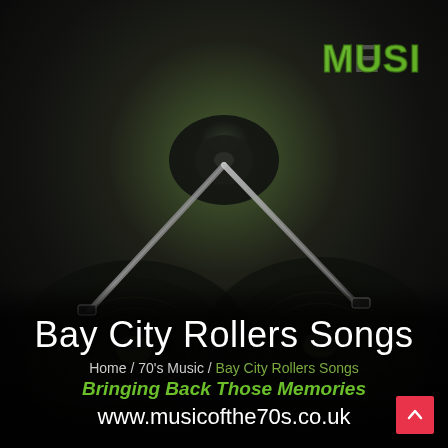[Figure (photo): Close-up photograph of vinyl record turntable with stylus/tonearm, dark background with olive/green tones, blurred artistic shot]
MUSIC
Bay City Rollers Songs
Home / 70's Music / Bay City Rollers Songs
Bringing Back Those Memories
www.musicofthe70s.co.uk